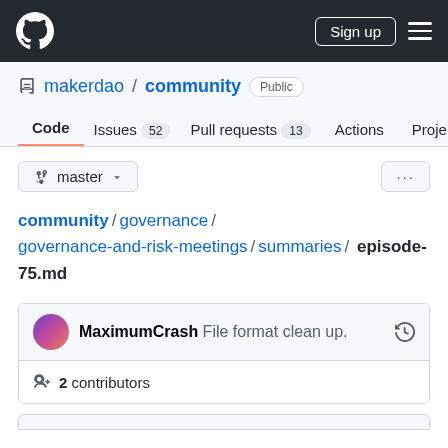GitHub navigation bar with logo, Sign up button, and menu
makerdao / community Public
Code  Issues 52  Pull requests 13  Actions  Projects
master branch selector
community / governance / governance-and-risk-meetings / summaries / episode-75.md
MaximumCrash File format clean up.
2 contributors